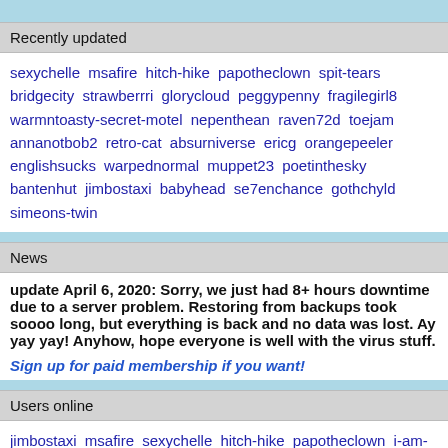Recently updated
sexychelle msafire hitch-hike papotheclown spit-tears bridgecity strawberrri glorycloud peggypenny fragilegirl8 warmntoasty-secret-motel nepenthean raven72d toejam annanotbob2 retro-cat absurniverse ericg orangepeeler englishsucks warpednormal muppet23 poetinthesky bantenhut jimbostaxi babyhead se7enchance gothchyld simeons-twin
News
update April 6, 2020: Sorry, we just had 8+ hours downtime due to a server problem. Restoring from backups took soooo long, but everything is back and no data was lost. Ay yay yay! Anyhow, hope everyone is well with the virus stuff.
Sign up for paid membership if you want!
Users online
jimbostaxi msafire sexychelle hitch-hike papotheclown i-am-jack